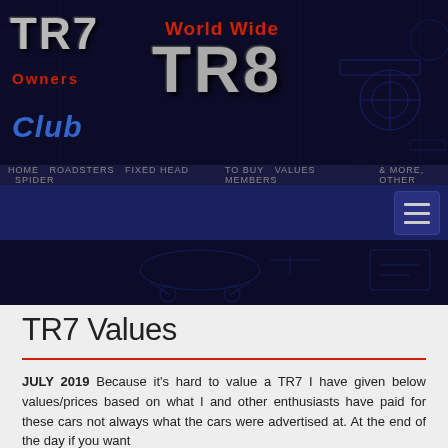[Figure (logo): TR7 TR8 World Wide Owners Club logo on dark blue background with engine diagram decorations]
[Figure (photo): Dark blue navigation bar with hamburger menu icon on the right]
[Figure (photo): Dark secondary banner with partial car imagery]
TR7 Values
JULY 2019 Because it's hard to value a TR7 I have given below values/prices based on what I and other enthusiasts have paid for these cars not always what the cars were advertised at. At the end of the day if you want